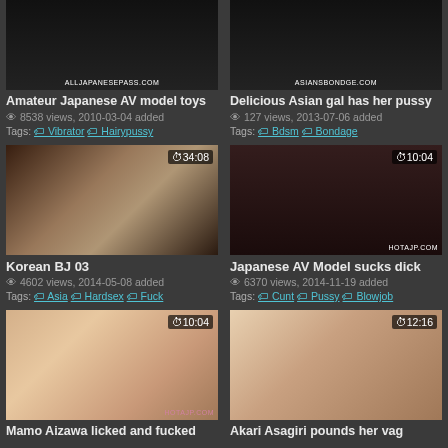[Figure (screenshot): Video thumbnail - Amateur Japanese AV model toys, watermark ALLJAPANESEPASS.COM]
Amateur Japanese AV model toys
8538 views, 2010-03-04 added
Tags: Vibrator Hairypussy
[Figure (screenshot): Video thumbnail - Delicious Asian gal has her pussy, watermark ASIANSBONDGE.COM]
Delicious Asian gal has her pussy
127 views, 2013-07-06 added
Tags: Bdsm Bondage
[Figure (screenshot): Video thumbnail - Korean BJ 03, duration 34:08]
Korean BJ 03
4602 views, 2014-05-08 added
Tags: Asia Hardsex Fuck
[Figure (screenshot): Video thumbnail - Japanese AV Model sucks dick, duration 10:04, watermark HOTAJP.COM]
Japanese AV Model sucks dick
6370 views, 2014-11-19 added
Tags: Cunt Pussy Blowjob
[Figure (screenshot): Video thumbnail - Mamo Aizawa licked and fucked, duration 10:04, watermark HOTAJP.COM]
Mamo Aizawa licked and fucked
[Figure (screenshot): Video thumbnail - Akari Asagiri pounds her..., duration 12:16]